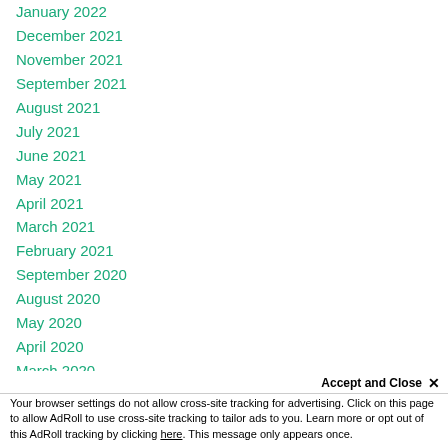January 2022
December 2021
November 2021
September 2021
August 2021
July 2021
June 2021
May 2021
April 2021
March 2021
February 2021
September 2020
August 2020
May 2020
April 2020
March 2020
February 2020
Accept and Close ×
Your browser settings do not allow cross-site tracking for advertising. Click on this page to allow AdRoll to use cross-site tracking to tailor ads to you. Learn more or opt out of this AdRoll tracking by clicking here. This message only appears once.